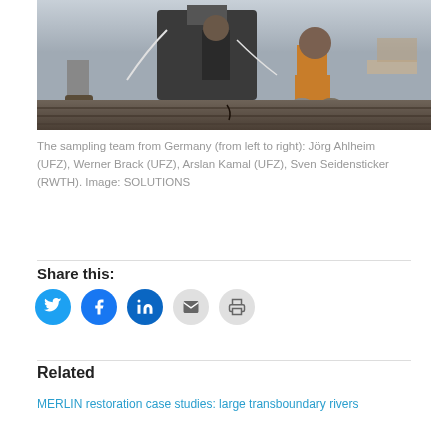[Figure (photo): Photograph of a sampling team from Germany standing outdoors on a wooden dock or platform, with field equipment including hoses and a device. Three people are visible.]
The sampling team from Germany (from left to right): Jörg Ahlheim (UFZ), Werner Brack (UFZ), Arslan Kamal (UFZ), Sven Seidensticker (RWTH). Image: SOLUTIONS
Share this:
[Figure (infographic): Social sharing icons: Twitter (blue), Facebook (blue), LinkedIn (blue), Email (grey), Print (grey)]
Related
MERLIN restoration case studies: large transboundary rivers